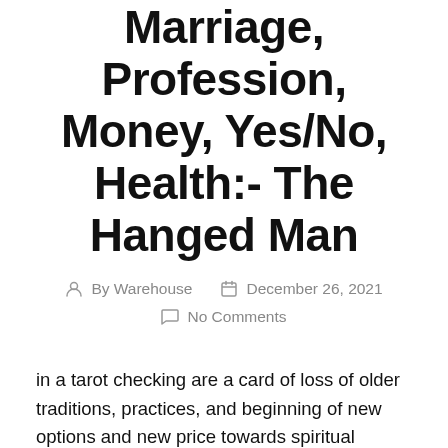Marriage, Profession, Money, Yes/No, Health:- The Hanged Man
By Warehouse   December 26, 2021
No Comments
in a tarot checking are a card of loss of older traditions, practices, and beginning of new options and new price towards spiritual journey. It indicates allowing go of an unpleasant history.
Precisely what does This Cards Overall Mean In A